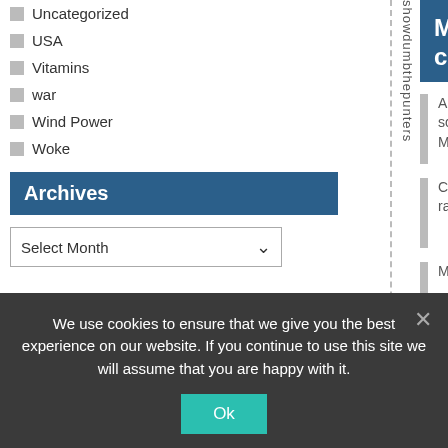Uncategorized
USA
Vitamins
war
Wind Power
Woke
Archives
Select Month
Most commented
A discussion of the Slaying the Sky Dragon science: Is the Greenhouse Effect a Sky Dragon Myth? (1265)
Climate Rage: We absolutely cannot have... a rational conversation! (879)
More strange adventures in TSI data: the miracle of
We use cookies to ensure that we give you the best experience on our website. If you continue to use this site we will assume that you are happy with it.